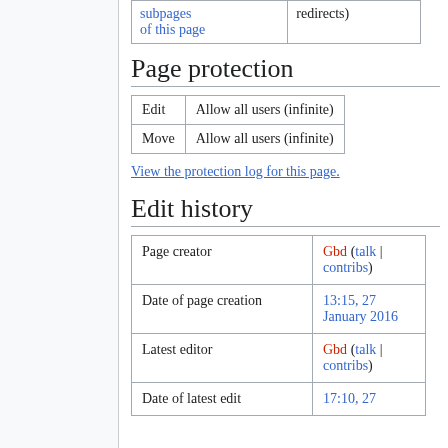| subpages of this page | redirects) |
Page protection
| Edit | Allow all users (infinite) |
| --- | --- |
| Move | Allow all users (infinite) |
View the protection log for this page.
Edit history
| Page creator | Gbd (talk | contribs) |
| Date of page creation | 13:15, 27 January 2016 |
| Latest editor | Gbd (talk | contribs) |
| Date of latest edit | 17:10, 27 |